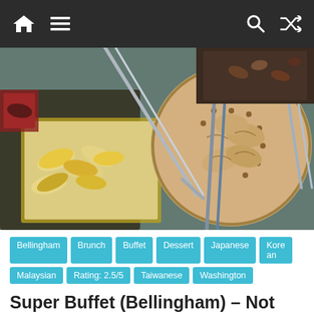Navigation bar with home, menu, search, and shuffle icons
[Figure (photo): Close-up photo of a buffet spread showing baby corn in a metal tray, dumplings/dim sum in a round steamer basket, and other buffet dishes with metal tongs]
Bellingham  Brunch  Buffet  Dessert  Japanese  Korean  Malaysian  Rating: 2.5/5  Taiwanese  Washington
Super Buffet (Bellingham) – Not Bad For A Cheap Buffet.
June 13, 2013  admin  1 Comment